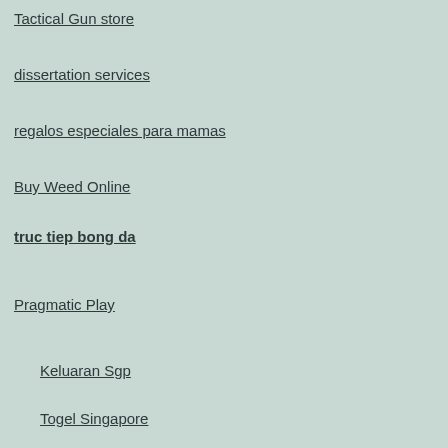Tactical Gun store
dissertation services
regalos especiales para mamas
Buy Weed Online
truc tiep bong da
Pragmatic Play
Keluaran Sgp
Togel Singapore